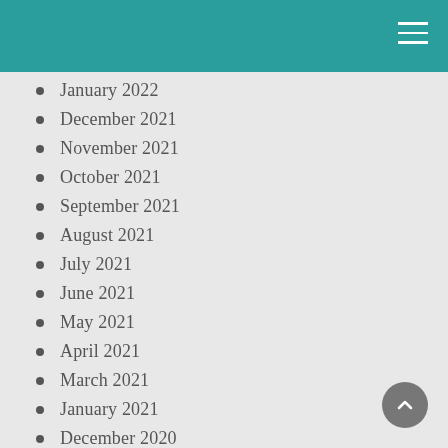January 2022
December 2021
November 2021
October 2021
September 2021
August 2021
July 2021
June 2021
May 2021
April 2021
March 2021
January 2021
December 2020
November 2020
October 2020
September 2020
August 2020